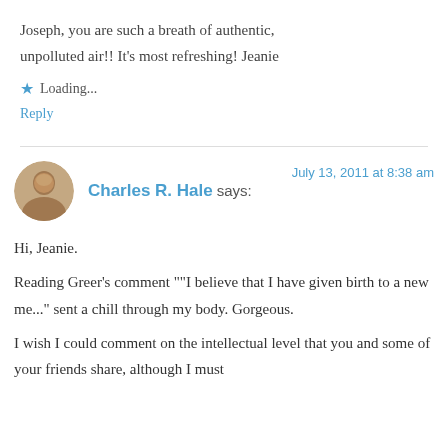Joseph, you are such a breath of authentic, unpolluted air!! It’s most refreshing! Jeanie
★ Loading...
Reply
Charles R. Hale says: July 13, 2011 at 8:38 am
Hi, Jeanie.
Reading Greer’s comment ““I believe that I have given birth to a new me...” sent a chill through my body. Gorgeous.
I wish I could comment on the intellectual level that you and some of your friends share, although I must